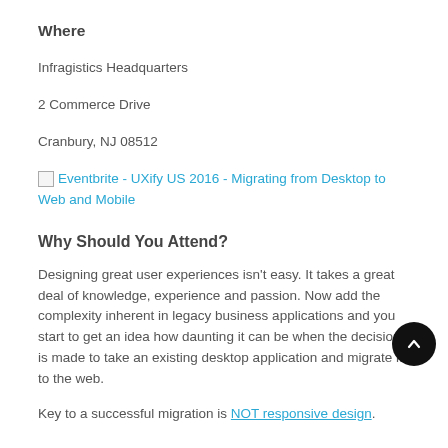Where
Infragistics Headquarters
2 Commerce Drive
Cranbury, NJ 08512
Eventbrite - UXify US 2016 - Migrating from Desktop to Web and Mobile
Why Should You Attend?
Designing great user experiences isn't easy. It takes a great deal of knowledge, experience and passion. Now add the complexity inherent in legacy business applications and you start to get an idea how daunting it can be when the decision is made to take an existing desktop application and migrate it to the web.
Key to a successful migration is NOT responsive design.